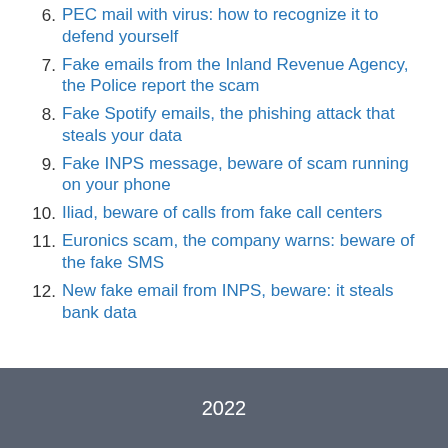6. PEC mail with virus: how to recognize it to defend yourself
7. Fake emails from the Inland Revenue Agency, the Police report the scam
8. Fake Spotify emails, the phishing attack that steals your data
9. Fake INPS message, beware of scam running on your phone
10. Iliad, beware of calls from fake call centers
11. Euronics scam, the company warns: beware of the fake SMS
12. New fake email from INPS, beware: it steals bank data
2022